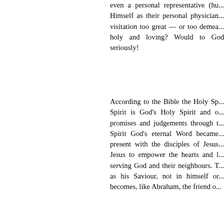even a personal representative (hu... Himself as their personal physician... visitation too great — or too demea... holy and loving? Would to God ... seriously!
According to the Bible the Holy Sp... Spirit is God's Holy Spirit and o... promises and judgements through t... Spirit God's eternal Word became... present with the disciples of Jesus... Jesus to empower the hearts and l... serving God and their neighbours. T... as his Saviour, not in himself or... becomes, like Abraham, the friend o...
Thus God reveals Himself as Fathe... of God as Trinity or Tri-unity, plu... and working together as one God in... Trinity, they are confessing, not co... associates.
It is true that the word "Trinity"... summarize God's revelation of Him... Bible. If it is nothing but a metaph... the traditional and orthodox Muslim...